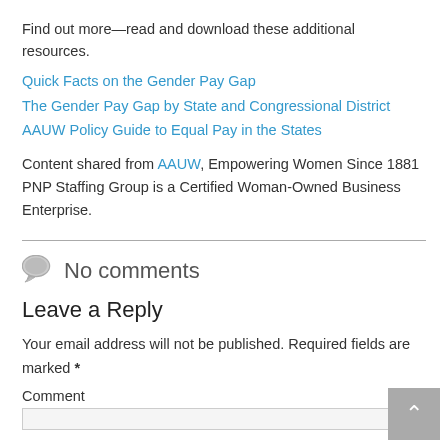Find out more—read and download these additional resources.
Quick Facts on the Gender Pay Gap
The Gender Pay Gap by State and Congressional District
AAUW Policy Guide to Equal Pay in the States
Content shared from AAUW, Empowering Women Since 1881 PNP Staffing Group is a Certified Woman-Owned Business Enterprise.
No comments
Leave a Reply
Your email address will not be published. Required fields are marked *
Comment